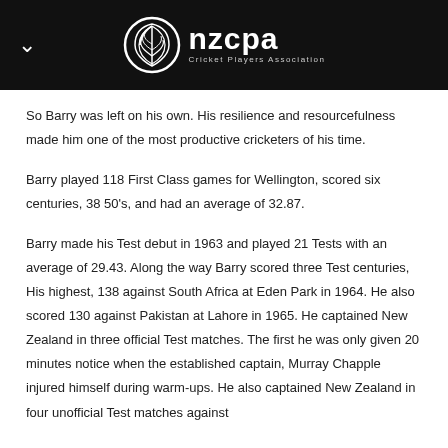nzcpa Cricket Players Association
So Barry was left on his own. His resilience and resourcefulness made him one of the most productive cricketers of his time.
Barry played 118 First Class games for Wellington, scored six centuries, 38 50's, and had an average of 32.87.
Barry made his Test debut in 1963 and played 21 Tests with an average of 29.43. Along the way Barry scored three Test centuries, His highest, 138 against South Africa at Eden Park in 1964. He also scored 130 against Pakistan at Lahore in 1965. He captained New Zealand in three official Test matches. The first he was only given 20 minutes notice when the established captain, Murray Chapple injured himself during warm-ups. He also captained New Zealand in four unofficial Test matches against